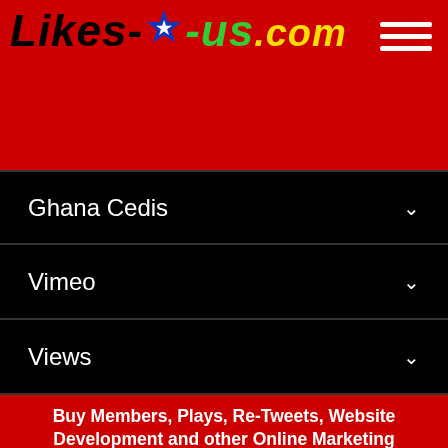[Figure (logo): Likes-R-us.com logo with star icon on red background with hamburger menu icon]
Ghana Cedis
Vimeo
Views
-- Select --
Buy Members, Plays, Re-Tweets, Website Development and other Online Marketing services.
100% Real boosting Twitter, Telegram, Discord, Audiomack, Bing & Yahoo search engine ranking (SEO